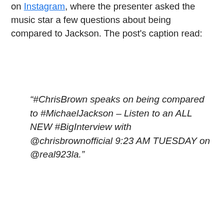on Instagram, where the presenter asked the music star a few questions about being compared to Jackson. The post's caption read:
“#ChrisBrown speaks on being compared to #MichaelJackson – Listen to an ALL NEW #BigInterview with @chrisbrownofficial 9:23 AM TUESDAY on @real923la.”